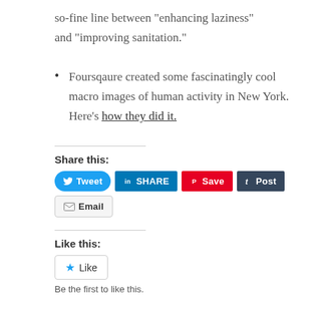so-fine line between “enhancing laziness” and “improving sanitation.”
Foursqaure created some fascinatingly cool macro images of human activity in New York. Here’s how they did it.
Share this:
[Figure (other): Social share buttons: Tweet, SHARE (LinkedIn), Save (Pinterest), Post (Tumblr), Email]
Like this:
[Figure (other): Like button widget with star icon]
Be the first to like this.